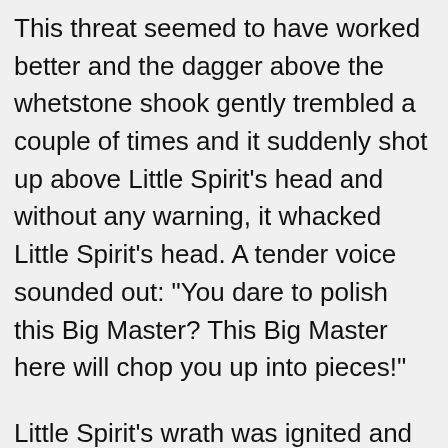This threat seemed to have worked better and the dagger above the whetstone shook gently trembled a couple of times and it suddenly shot up above Little Spirit's head and without any warning, it whacked Little Spirit's head. A tender voice sounded out: "You dare to polish this Big Master? This Big Master here will chop you up into pieces!"
Little Spirit's wrath was ignited and he no longer paid any heed to Sima You Yue and immediately lunged towards the dagger.
Sima You Yue and Little Roar watched on speechlessly at this scene in front of them, both still in shock as they watched the two fighting each other.